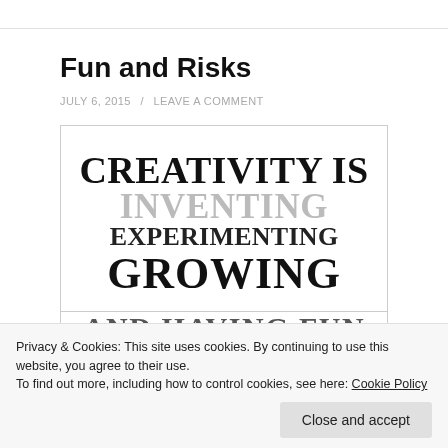Fun and Risks
JULY 6, 2015 / LEAVE A COMMENT
[Figure (illustration): Typographic poster with overlapping text: 'CREATIVITY IS' in black bold serif, 'INVENTING' in gray bold serif, 'EXPERIMENTING' in black bold serif, 'GROWING' in black bold serif partially cut off, 'AND HAVING FUN' in gray bold serif partially visible at bottom]
Privacy & Cookies: This site uses cookies. By continuing to use this website, you agree to their use.
To find out more, including how to control cookies, see here: Cookie Policy
Close and accept